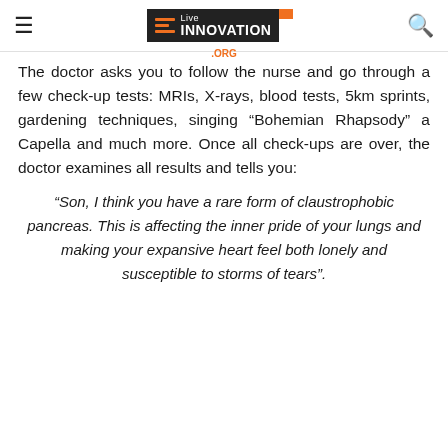Live INNOVATION .ORG
The doctor asks you to follow the nurse and go through a few check-up tests: MRIs, X-rays, blood tests, 5km sprints, gardening techniques, singing “Bohemian Rhapsody” a Capella and much more. Once all check-ups are over, the doctor examines all results and tells you:
“Son, I think you have a rare form of claustrophobic pancreas. This is affecting the inner pride of your lungs and making your expansive heart feel both lonely and susceptible to storms of tears”.